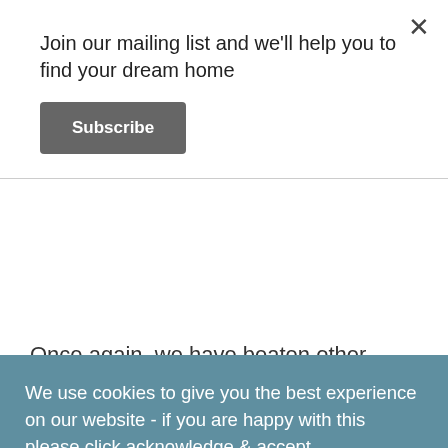Join our mailing list and we'll help you to find your dream home
Subscribe
Once again, we have beaten other housebuilders in the region and been crowned 'Winners' at the coveted LABC
We use cookies to give you the best experience on our website - if you are happy with this please click acknowledge & accept. Alternatively, you can find more information in our privacy policy.
Acknowledge & Accept